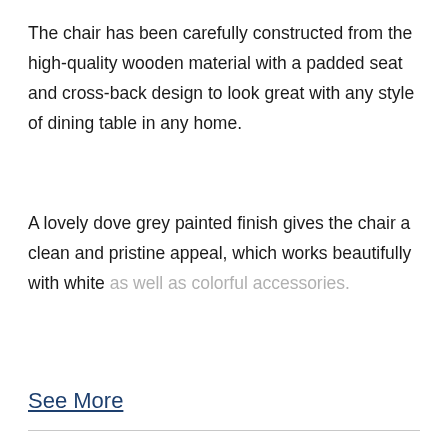The chair has been carefully constructed from the high-quality wooden material with a padded seat and cross-back design to look great with any style of dining table in any home.
A lovely dove grey painted finish gives the chair a clean and pristine appeal, which works beautifully with white as well as colorful accessories.
See More
We use cookies to improve your browsing experience. By using our website, you consent to cookies. Learn More
Accept
Need any help? Our experienced sales staff